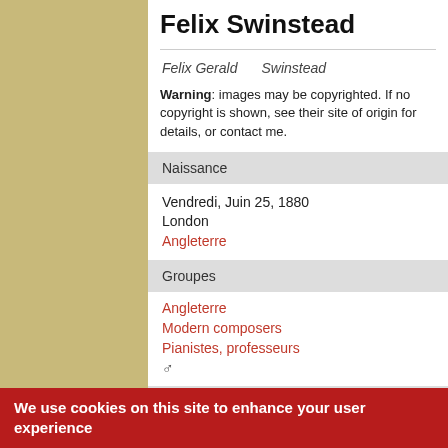Felix Swinstead
Felix Gerald    Swinstead
Warning: images may be copyrighted. If no copyright is shown, see their site of origin for details, or contact me.
Naissance
Vendredi, Juin 25, 1880
London
Angleterre
Groupes
Angleterre
Modern composers
Pianistes, professeurs
♂
We use cookies on this site to enhance your user experience